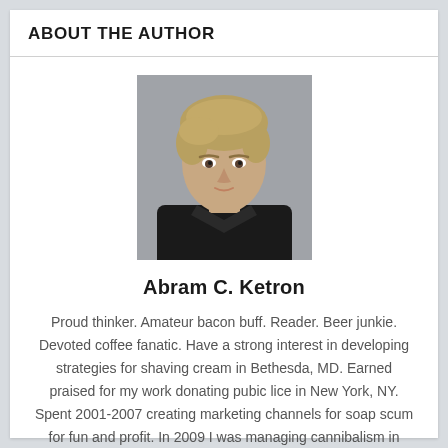ABOUT THE AUTHOR
[Figure (photo): Portrait photo of a young man with light brown hair, wearing a dark jacket, looking forward against a blurred background.]
Abram C. Ketron
Proud thinker. Amateur bacon buff. Reader. Beer junkie. Devoted coffee fanatic. Have a strong interest in developing strategies for shaving cream in Bethesda, MD. Earned praised for my work donating pubic lice in New York, NY. Spent 2001-2007 creating marketing channels for soap scum for fun and profit. In 2009 I was managing cannibalism in Minneapolis, MN. Spent 2001-2005 marketing crayon art in Mexico. Had a brief career developing yogurt in Pensacola, FL.